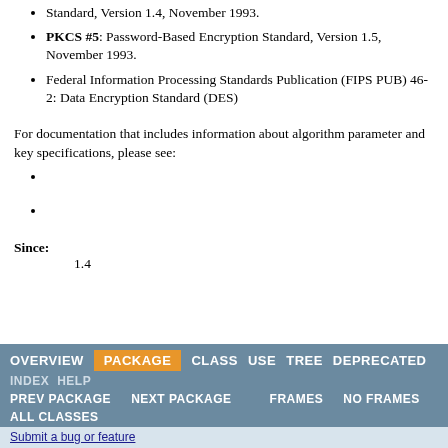Standard, Version 1.4, November 1993.
PKCS #5: Password-Based Encryption Standard, Version 1.5, November 1993.
Federal Information Processing Standards Publication (FIPS PUB) 46-2: Data Encryption Standard (DES)
For documentation that includes information about algorithm parameter and key specifications, please see:
Since:
1.4
OVERVIEW  PACKAGE  CLASS  USE  TREE  DEPRECATED
INDEX  HELP
PREV PACKAGE  NEXT PACKAGE  FRAMES  NO FRAMES
ALL CLASSES
Submit a bug or feature